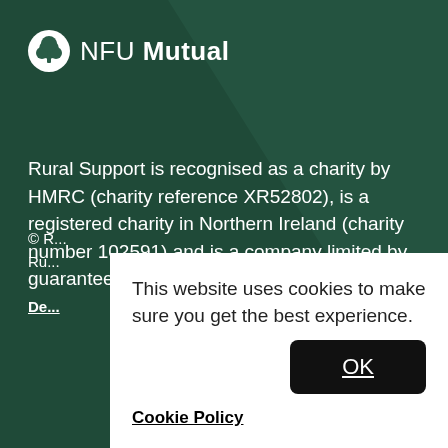[Figure (logo): NFU Mutual logo — white circle with tree icon and text 'NFU Mutual' in white]
Rural Support is recognised as a charity by HMRC (charity reference XR52802), is a registered charity in Northern Ireland (charity number 102591) and is a company limited by guarantee (registered number NI42579)
© R... Rural Support...
Design...
This website uses cookies to make sure you get the best experience.
OK
Cookie Policy